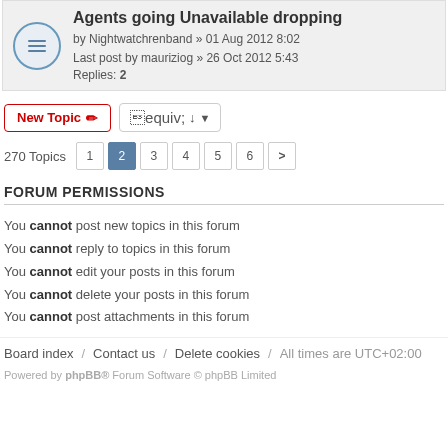Agents going Unavailable dropping by Nightwatchrenband » 01 Aug 2012 8:02 Last post by mauriziog » 26 Oct 2012 5:43 Replies: 2
New Topic | Sort | 270 Topics 1 2 3 4 5 6 >
FORUM PERMISSIONS
You cannot post new topics in this forum
You cannot reply to topics in this forum
You cannot edit your posts in this forum
You cannot delete your posts in this forum
You cannot post attachments in this forum
Board index / Contact us / Delete cookies / All times are UTC+02:00
Powered by phpBB® Forum Software © phpBB Limited